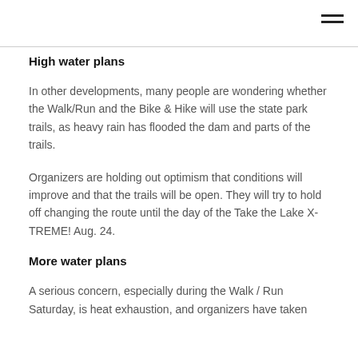High water plans
In other developments, many people are wondering whether the Walk/Run and the Bike & Hike will use the state park trails, as heavy rain has flooded the dam and parts of the trails.
Organizers are holding out optimism that conditions will improve and that the trails will be open. They will try to hold off changing the route until the day of the Take the Lake X-TREME! Aug. 24.
More water plans
A serious concern, especially during the Walk / Run Saturday, is heat exhaustion, and organizers have taken